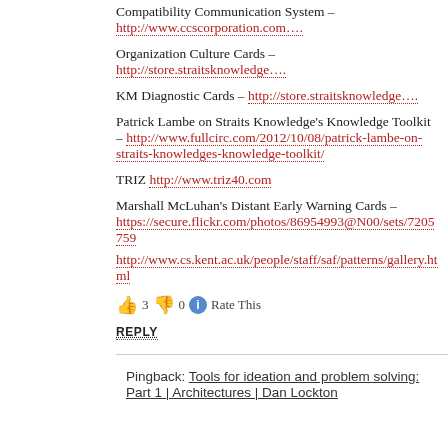Compatibility Communication System – http://www.ccscorporation.com….
Organization Culture Cards – http://store.straitsknowledge….
KM Diagnostic Cards – http://store.straitsknowledge….
Patrick Lambe on Straits Knowledge's Knowledge Toolkit – http://www.fullcirc.com/2012/10/08/patrick-lambe-on-straits-knowledges-knowledge-toolkit/
TRIZ http://www.triz40.com
Marshall McLuhan's Distant Early Warning Cards – https://secure.flickr.com/photos/86954993@N00/sets/72057590…
http://www.cs.kent.ac.uk/people/staff/saf/patterns/gallery.html
👍 3 👎 0 ℹ Rate This
REPLY
Pingback: Tools for ideation and problem solving: Part 1 | Architectures | Dan Lockton